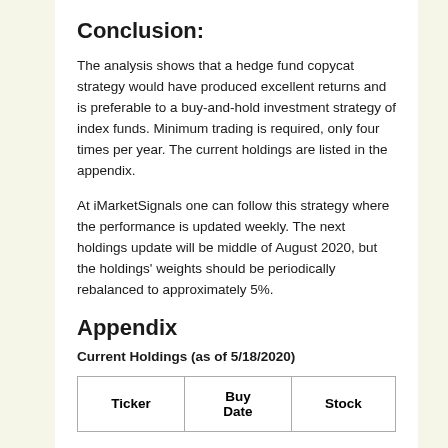Conclusion:
The analysis shows that a hedge fund copycat strategy would have produced excellent returns and is preferable to a buy-and-hold investment strategy of index funds. Minimum trading is required, only four times per year. The current holdings are listed in the appendix.
At iMarketSignals one can follow this strategy where the performance is updated weekly. The next holdings update will be middle of August 2020, but the holdings' weights should be periodically rebalanced to approximately 5%.
Appendix
Current Holdings (as of 5/18/2020)
| Ticker | Buy Date | Stock |
| --- | --- | --- |